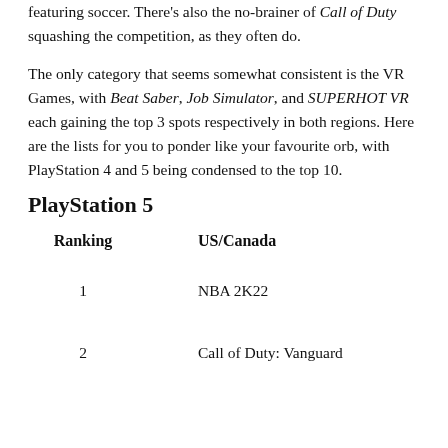featuring soccer. There's also the no-brainer of Call of Duty squashing the competition, as they often do.
The only category that seems somewhat consistent is the VR Games, with Beat Saber, Job Simulator, and SUPERHOT VR each gaining the top 3 spots respectively in both regions. Here are the lists for you to ponder like your favourite orb, with PlayStation 4 and 5 being condensed to the top 10.
PlayStation 5
| Ranking | US/Canada |
| --- | --- |
| 1 | NBA 2K22 |
| 2 | Call of Duty: Vanguard |